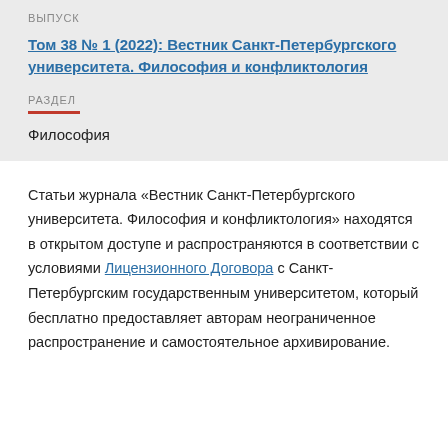ВЫПУСК
Том 38 № 1 (2022): Вестник Санкт-Петербургского университета. Философия и конфликтология
РАЗДЕЛ
Философия
Статьи журнала «Вестник Санкт-Петербургского университета. Философия и конфликтология» находятся в открытом доступе и распространяются в соответствии с условиями Лицензионного Договора с Санкт-Петербургским государственным университетом, который бесплатно предоставляет авторам неограниченное распространение и самостоятельное архивирование.